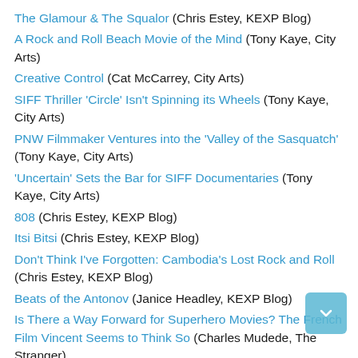The Glamour & The Squalor (Chris Estey, KEXP Blog)
A Rock and Roll Beach Movie of the Mind (Tony Kaye, City Arts)
Creative Control (Cat McCarrey, City Arts)
SIFF Thriller 'Circle' Isn't Spinning its Wheels (Tony Kaye, City Arts)
PNW Filmmaker Ventures into the 'Valley of the Sasquatch' (Tony Kaye, City Arts)
'Uncertain' Sets the Bar for SIFF Documentaries (Tony Kaye, City Arts)
808 (Chris Estey, KEXP Blog)
Itsi Bitsi (Chris Estey, KEXP Blog)
Don't Think I've Forgotten: Cambodia's Lost Rock and Roll (Chris Estey, KEXP Blog)
Beats of the Antonov (Janice Headley, KEXP Blog)
Is There a Way Forward for Superhero Movies? The French Film Vincent Seems to Think So (Charles Mudede, The Stranger)